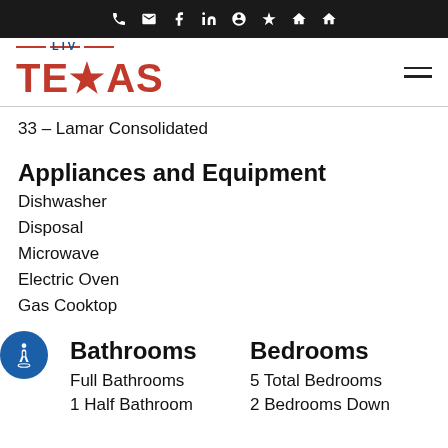Navigation icons: phone, email, facebook, linkedin, zillow, yelp, houzz, home
[Figure (logo): LIV TEXAS real estate logo with red star replacing the X in TEXAS]
33 – Lamar Consolidated
Appliances and Equipment
Dishwasher
Disposal
Microwave
Electric Oven
Gas Cooktop
Bathrooms
Full Bathrooms
1 Half Bathroom
Bedrooms
5 Total Bedrooms
2 Bedrooms Down